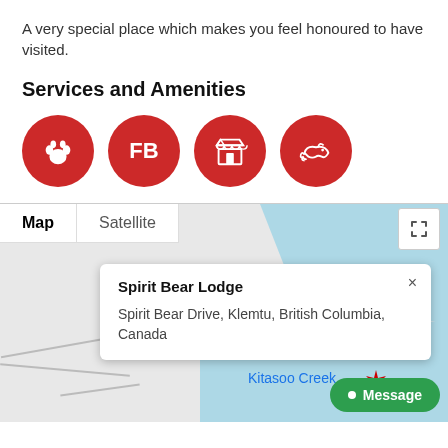A very special place which makes you feel honoured to have visited.
Services and Amenities
[Figure (infographic): Four red circular icons representing services: paw print, FB (Facebook), store/shop, whale]
[Figure (map): Google Maps embed showing Spirit Bear Lodge location in Klemtu, British Columbia, Canada. Map tab selected, Satellite tab visible. Info popup shows 'Spirit Bear Lodge' at 'Spirit Bear Drive, Klemtu, British Columbia, Canada'. Kitasoo Creek label visible. Message button in bottom right.]